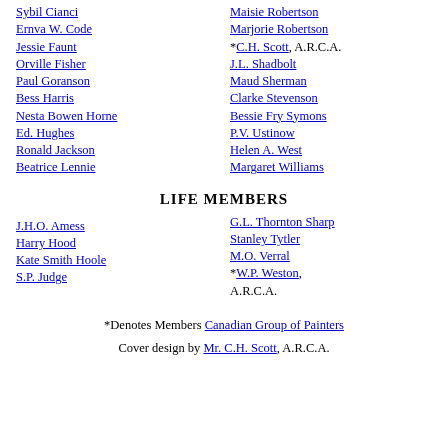Sybil Cianci
Ernva W. Code
Jessie Faunt
Orville Fisher
Paul Goranson
Bess Harris
Nesta Bowen Horne
Ed. Hughes
Ronald Jackson
Beatrice Lennie
Ralph Roberts
Maisie Robertson
Marjorie Robertson
*C.H. Scott, A.R.C.A.
J.L. Shadbolt
Maud Sherman
Clarke Stevenson
Bessie Fry Symons
P.V. Ustinow
Helen A. West
Margaret Williams
LIFE MEMBERS
J.H.O. Amess
Harry Hood
Kate Smith Hoole
S.P. Judge
G.L. Thornton Sharp
Stanley Tytler
M.O. Verral
*W.P. Weston, A.R.C.A.
*Denotes Members Canadian Group of Painters
Cover design by Mr. C.H. Scott, A.R.C.A.